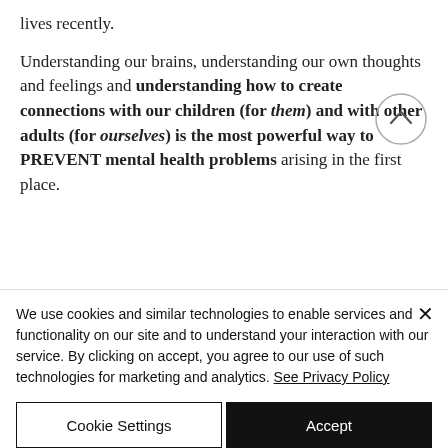lives recently.
Understanding our brains, understanding our own thoughts and feelings and understanding how to create connections with our children (for them) and with other adults (for ourselves) is the most powerful way to PREVENT mental health problems arising in the first place.
We use cookies and similar technologies to enable services and functionality on our site and to understand your interaction with our service. By clicking on accept, you agree to our use of such technologies for marketing and analytics. See Privacy Policy